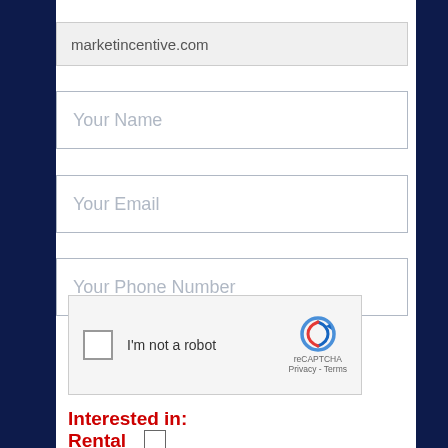marketincentive.com
Your Name
Your Email
Your Phone Number
[Figure (other): reCAPTCHA widget with checkbox labeled 'I'm not a robot', reCAPTCHA logo, and Privacy/Terms links]
Interested in:
Rental